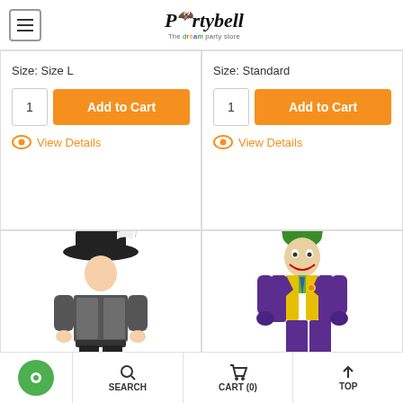Partybell - The Dream Party Store
Size: Size L
1  Add to Cart
View Details
Size: Standard
1  Add to Cart
View Details
[Figure (photo): Child in pirate costume with black feathered hat, black and silver jacket, white shirt, black pants and boots]
[Figure (photo): Man in Joker costume: purple suit, green vest, green hair, purple gloves]
SEARCH  CART (0)  TOP